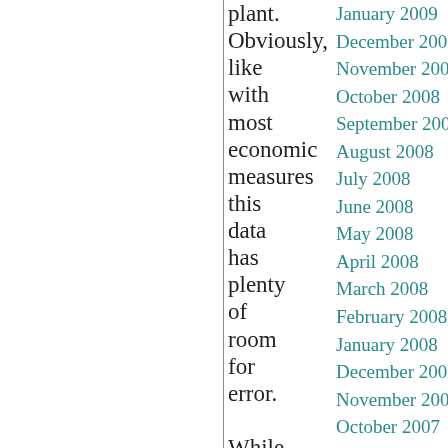plant. Obviously, like with most economic measures this data has plenty of room for error. While they intend
January 2009
December 2008
November 2008
October 2008
September 2008
August 2008
July 2008
June 2008
May 2008
April 2008
March 2008
February 2008
January 2008
December 2007
November 2007
October 2007
September 2007
August 2007
July 2007